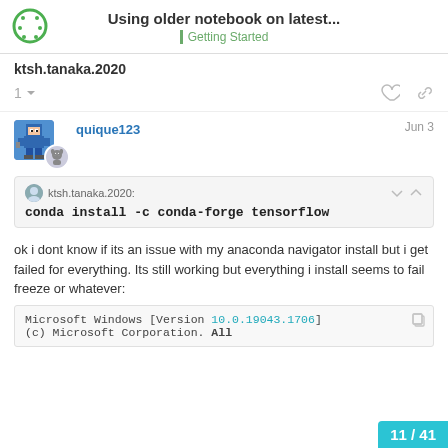Using older notebook on latest... | Getting Started
ktsh.tanaka.2020
1
quique123 Jun 3
ktsh.tanaka.2020:
conda install -c conda-forge tensorflow
ok i dont know if its an issue with my anaconda navigator install but i get failed for everything. Its still working but everything i install seems to fail freeze or whatever:
Microsoft Windows [Version 10.0.19043.1706]
(c) Microsoft Corporation. All
11 / 41